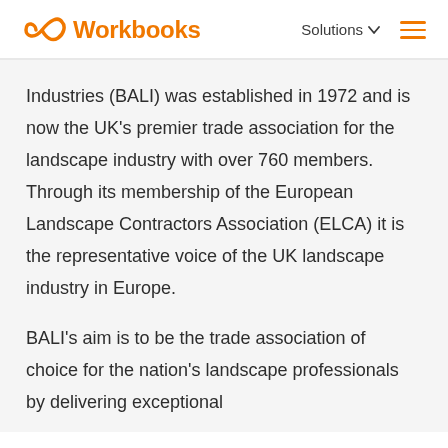[Figure (logo): Workbooks logo with orange infinity/loop icon and orange bold text 'Workbooks']
Solutions ▾  ☰
Industries (BALI) was established in 1972 and is now the UK's premier trade association for the landscape industry with over 760 members. Through its membership of the European Landscape Contractors Association (ELCA) it is the representative voice of the UK landscape industry in Europe.
BALI's aim is to be the trade association of choice for the nation's landscape professionals by delivering exceptional